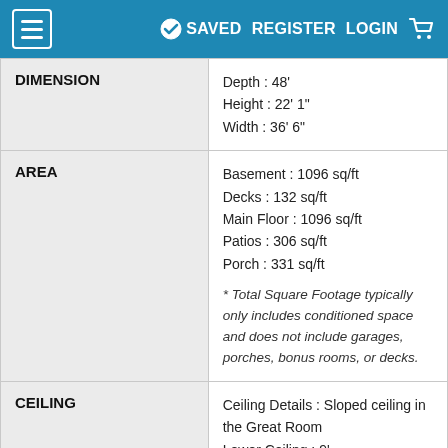≡  ✓ SAVED  REGISTER  LOGIN  🛒
| Category | Details |
| --- | --- |
| DIMENSION | Depth : 48'
Height : 22' 1"
Width : 36' 6" |
| AREA | Basement : 1096 sq/ft
Decks : 132 sq/ft
Main Floor : 1096 sq/ft
Patios : 306 sq/ft
Porch : 331 sq/ft

* Total Square Footage typically only includes conditioned space and does not include garages, porches, bonus rooms, or decks. |
| CEILING | Ceiling Details : Sloped ceiling in the Great Room
Lower Ceiling : 9' |